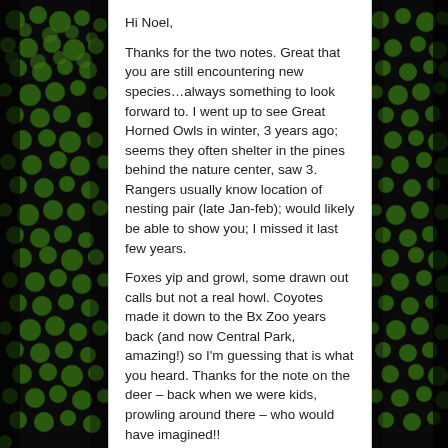[Figure (photo): Green textured reptile skin or plant surface on left and right sides of page, with white content area in center]
Hi Noel,
Thanks for the two notes. Great that you are still encountering new species…always something to look forward to. I went up to see Great Horned Owls in winter, 3 years ago; seems they often shelter in the pines behind the nature center, saw 3. Rangers usually know location of nesting pair (late Jan-feb); would likely be able to show you; I missed it last few years.
Foxes yip and growl, some drawn out calls but not a real howl. Coyotes made it down to the Bx Zoo years back (and now Central Park, amazing!) so I'm guessing that is what you heard. Thanks for the note on the deer – back when we were kids, prowling around there – who would have imagined!!